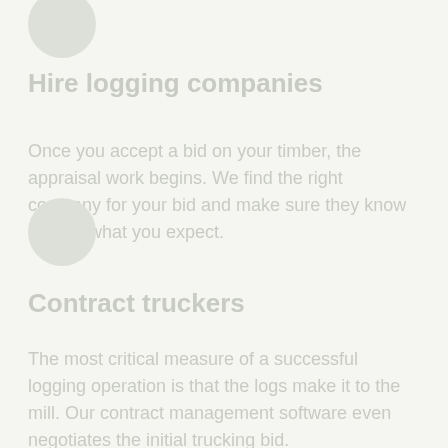[Figure (other): Circular icon/badge, light grey, top left]
Hire logging companies
Once you accept a bid on your timber, the appraisal work begins. We find the right company for your bid and make sure they know exactly what you expect.
[Figure (other): Circular icon/badge, light grey, middle left]
Contract truckers
The most critical measure of a successful logging operation is that the logs make it to the mill. Our contract management software even negotiates the initial trucking bid.